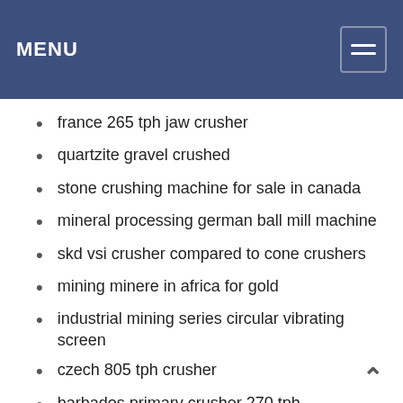MENU
france 265 tph jaw crusher
quartzite gravel crushed
stone crushing machine for sale in canada
mineral processing german ball mill machine
skd vsi crusher compared to cone crushers
mining minere in africa for gold
industrial mining series circular vibrating screen
czech 805 tph crusher
barbados primary crusher 270 tph
gold processing machine mining equipment china
cement mill for cement plant